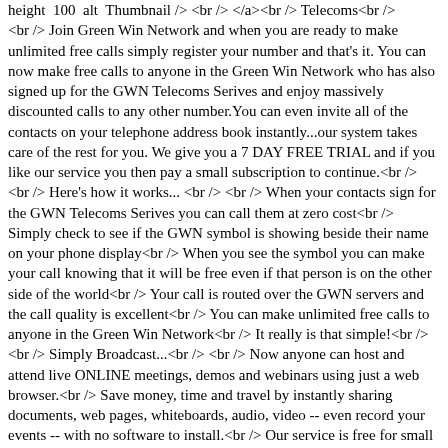height  100  alt  Thumbnail /> <br /> </a><br /> Telecoms<br /> <br /> Join Green Win Network and when you are ready to make unlimited free calls simply register your number and that's it. You can now make free calls to anyone in the Green Win Network who has also signed up for the GWN Telecoms Serives and enjoy massively discounted calls to any other number.You can even invite all of the contacts on your telephone address book instantly...our system takes care of the rest for you. We give you a 7 DAY FREE TRIAL and if you like our service you then pay a small subscription to continue.<br /> <br /> Here's how it works... <br /> <br /> When your contacts sign for the GWN Telecoms Serives you can call them at zero cost<br /> Simply check to see if the GWN symbol is showing beside their name on your phone display<br /> When you see the symbol you can make your call knowing that it will be free even if that person is on the other side of the world<br /> Your call is routed over the GWN servers and the call quality is excellent<br /> You can make unlimited free calls to anyone in the Green Win Network<br /> It really is that simple!<br /> <br /> Simply Broadcast...<br /> <br /> Now anyone can host and attend live ONLINE meetings, demos and webinars using just a web browser.<br /> Save money, time and travel by instantly sharing documents, web pages, whiteboards, audio, video -- even record your events -- with no software to install.<br /> Our service is free for small meetings and starts at only $25 per month for unlimited use with more participants.